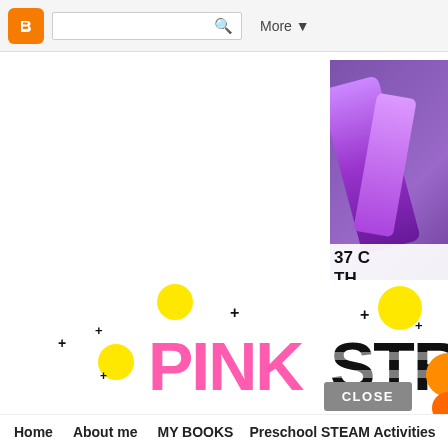Blogger navigation bar with search box and More button
[Figure (screenshot): Top-right corner image showing purple background with white text '37' and 'TH']
[Figure (logo): Pink Stripey blog logo with colorful decorative dots and sparkles. 'PINK' in pink bold font, 'STRIPEY' in black bold striped font]
CLOSE
Home
About me
MY BOOKS
Preschool STEAM Activities